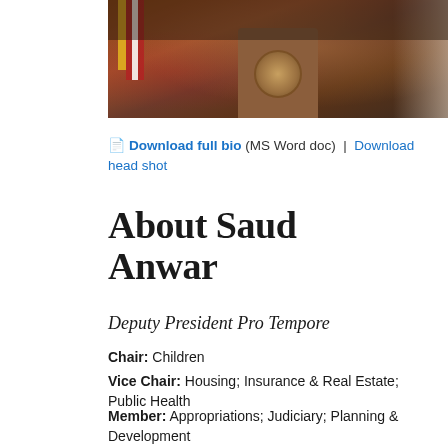[Figure (photo): Photo of official at a wooden podium with a seal, American flag visible in background, person in light-colored clothing partially visible at right edge.]
📄 Download full bio (MS Word doc)  |  Download head shot
About Saud Anwar
Deputy President Pro Tempore
Chair: Children
Vice Chair: Housing; Insurance & Real Estate; Public Health
Member: Appropriations; Judiciary; Planning & Development
State Senator Saud Anwar was first elected to the Senate in February 2019 to represent the residents of the 3rd